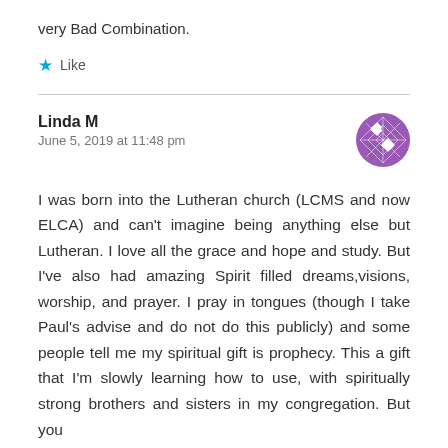very Bad Combination.
★ Like
Linda M
June 5, 2019 at 11:48 pm
I was born into the Lutheran church (LCMS and now ELCA) and can't imagine being anything else but Lutheran. I love all the grace and hope and study. But I've also had amazing Spirit filled dreams,visions, worship, and prayer. I pray in tongues (though I take Paul's advise and do not do this publicly) and some people tell me my spiritual gift is prophecy. This a gift that I'm slowly learning how to use, with spiritually strong brothers and sisters in my congregation. But you